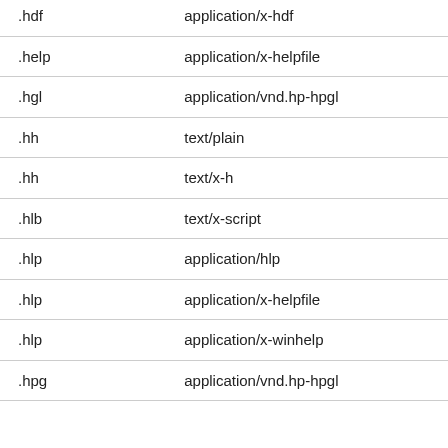| Extension | MIME Type |
| --- | --- |
| .hdf | application/x-hdf |
| .help | application/x-helpfile |
| .hgl | application/vnd.hp-hpgl |
| .hh | text/plain |
| .hh | text/x-h |
| .hlb | text/x-script |
| .hlp | application/hlp |
| .hlp | application/x-helpfile |
| .hlp | application/x-winhelp |
| .hpg | application/vnd.hp-hpgl |